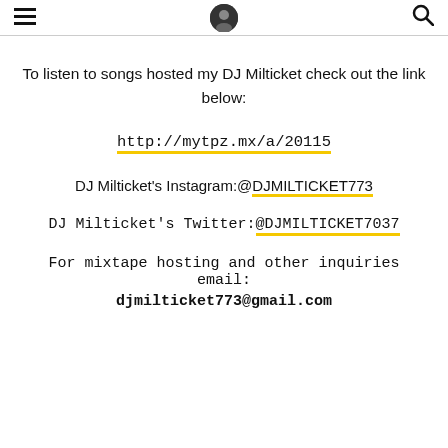≡ [avatar icon] 🔍
To listen to songs hosted my DJ Milticket check out the link below:
http://mytpz.mx/a/20115
DJ Milticket's Instagram:@DJMILTICKET773
DJ Milticket's Twitter:@DJMILTICKET7037
For mixtape hosting and other inquiries email: djmilticket773@gmail.com